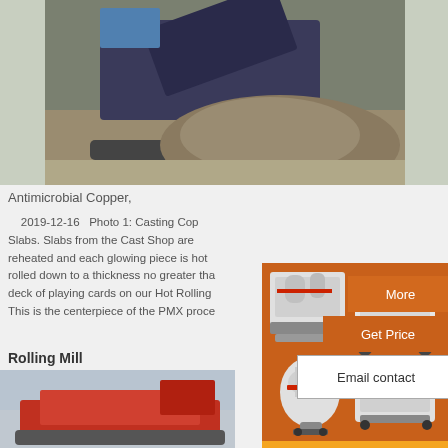[Figure (photo): Industrial machinery at a site, showing a large machine processing aggregates with a pile of gravel/sand in the foreground.]
Antimicrobial Copper,
2019-12-16  Photo 1: Casting Copper Slabs. Slabs from the Cast Shop are reheated and each glowing piece is hot rolled down to a thickness no greater than a deck of playing cards on our Hot Rolling. This is the centerpiece of the PMX process.
[Figure (photo): Orange advertisement panel showing industrial crushing/grinding machines on an orange background.]
Enjoy 3% discount
Click to Chat
Enquiry
mumumugoods@gmail.com
Rolling Mill
[Figure (photo): Red industrial machine/equipment photographed from the side at an outdoor location.]